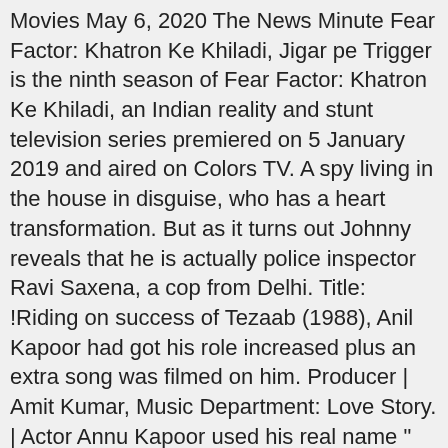Movies May 6, 2020 The News Minute Fear Factor: Khatron Ke Khiladi, Jigar pe Trigger is the ninth season of Fear Factor: Khatron Ke Khiladi, an Indian reality and stunt television series premiered on 5 January 2019 and aired on Colors TV. A spy living in the house in disguise, who has a heart transformation. But as it turns out Johnny reveals that he is actually police inspector Ravi Saxena, a cop from Delhi. Title: !Riding on success of Tezaab (1988), Anil Kapoor had got his role increased plus an extra song was filmed on him. Producer | Amit Kumar, Music Department: Love Story. | Actor Annu Kapoor used his real name " Anil Kapoor" for his first film Adharshila. Legendary actor Anil Kapoor shares the TV shows he's binge-watching, reveals an upcoming project, and more in this episode of "The Insider's Watchlist" by IMDb. Two estranged brothers must learn to work together to claim their rightful share of an inheritance left solely to their